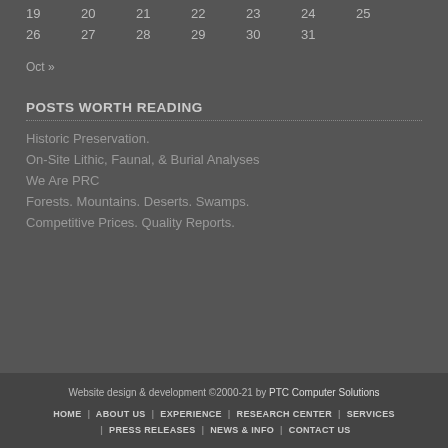| 19 | 20 | 21 | 22 | 23 | 24 | 25 |
| 26 | 27 | 28 | 29 | 30 | 31 |  |
Oct »
POSTS WORTH READING
Historic Preservation.
On-Site Lithic, Faunal, & Burial Analyses
We Are PRC
Forests. Mountains. Deserts. Swamps.
Competitive Prices. Quality Reports.
Website design & development ©2000-21 by PTC Computer Solutions
HOME | ABOUT US | EXPERIENCE | RESEARCH CENTER | SERVICES | PRESS RELEASES | NEWS & INFO | CONTACT US